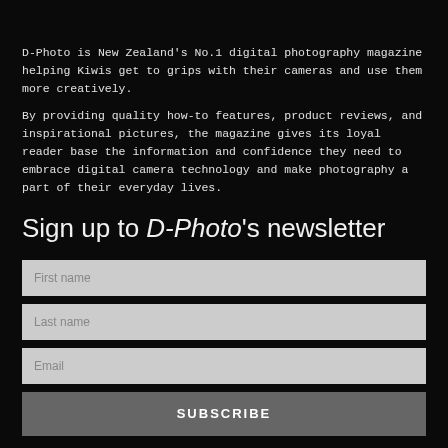D-Photo is New Zealand's No.1 digital photography magazine helping Kiwis get to grips with their cameras and use them more creatively.
By providing quality how-to features, product reviews, and inspirational pictures, the magazine gives its loyal reader base the information and confidence they need to embrace digital camera technology and make photography a part of their everyday lives.
Sign up to D-Photo's newsletter
[Figure (other): Newsletter sign-up form with fields for First name, Last name, Email, and a SUBSCRIBE button]